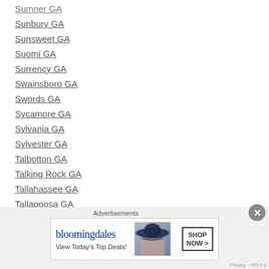Sumner GA
Sunbury GA
Sunsweet GA
Suomi GA
Surrency GA
Swainsboro GA
Swords GA
Sycamore GA
Sylvania GA
Sylvester GA
Talbotton GA
Talking Rock GA
Tallahassee GA
Tallapoosa GA
Tallulah Falls GA
Talmo GA
Advertisements
[Figure (other): Bloomingdale's advertisement banner: 'bloomingdales View Today's Top Deals!' with 'SHOP NOW >' button and woman in hat image]